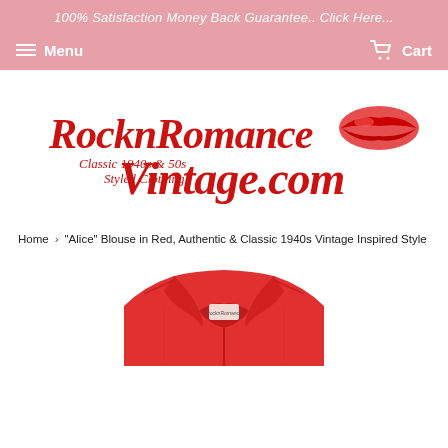100% Satisfaction Money Back Guarantee.. Click Here...
Menu   Cart
[Figure (logo): RocknRomance Vintage.com logo with red cursive text and red lips graphic. Tagline: Classic 1940s & 50s Styled Clothing]
Home › "Alice" Blouse in Red, Authentic & Classic 1940s Vintage Inspired Style
[Figure (photo): Red collared blouse with white stitching detail, product photo cropped at top showing collar and brand label]